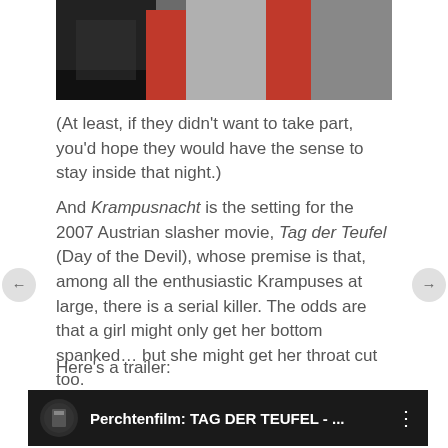[Figure (photo): Partial photo showing people in costumes including red and gray garments]
(At least, if they didn't want to take part, you'd hope they would have the sense to stay inside that night.)
And Krampusnacht is the setting for the 2007 Austrian slasher movie, Tag der Teufel (Day of the Devil), whose premise is that, among all the enthusiastic Krampuses at large, there is a serial killer. The odds are that a girl might only get her bottom spanked… but she might get her throat cut too.
Here's a trailer:
[Figure (screenshot): YouTube video thumbnail showing Perchtenfilm: TAG DER TEUFEL - ...]